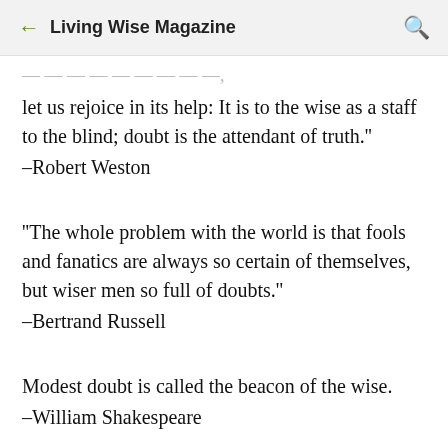Living Wise Magazine
let us rejoice in its help: It is to the wise as a staff to the blind; doubt is the attendant of truth.''
–Robert Weston
''The whole problem with the world is that fools and fanatics are always so certain of themselves, but wiser men so full of doubts.''
–Bertrand Russell
Modest doubt is called the beacon of the wise.
–William Shakespeare